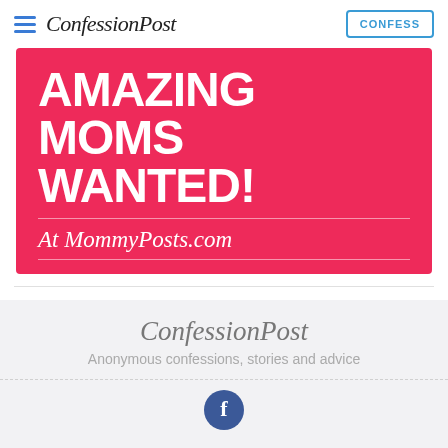ConfessionPost | CONFESS
[Figure (other): Red advertisement banner with bold white text reading 'AMAZING MOMS WANTED!' and italic text 'At MommyPosts.com' on a crimson/pink background]
ConfessionPost
Anonymous confessions, stories and advice